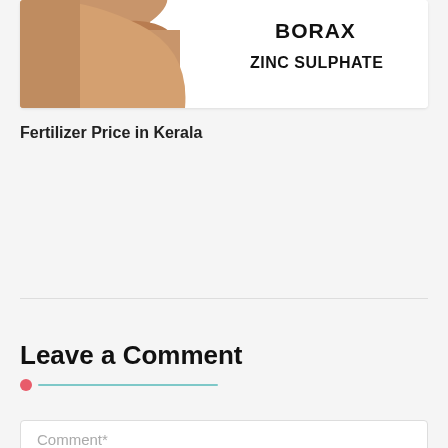[Figure (photo): Partial view of a hand/finger pointing, with text 'BORAX' and 'ZINC SULPHATE' visible on a white card background]
Fertilizer Price in Kerala
Leave a Comment
Comment*